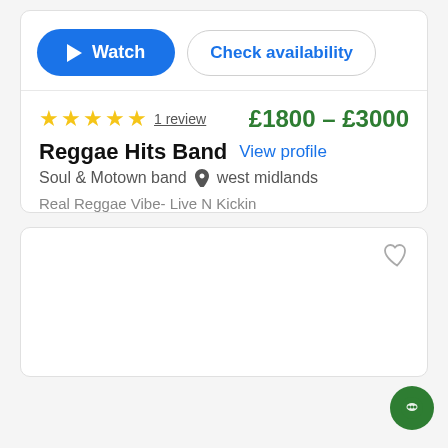[Figure (screenshot): Watch button (blue pill) and Check availability button (outlined pill)]
★★★★★ 1 review   £1800 - £3000
Reggae Hits Band  View profile
Soul & Motown band  📍 west midlands
Real Reggae Vibe- Live N Kickin
[Figure (screenshot): Second listing card placeholder with heart/favorite icon in top right corner]
[Figure (illustration): Green chat/message button in bottom right corner]